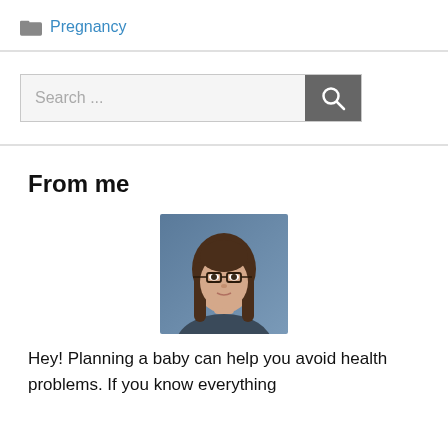Pregnancy
[Figure (photo): Portrait photo of a young woman with long brown hair and glasses, against a blue-grey background]
From me
Hey! Planning a baby can help you avoid health problems. If you know everything